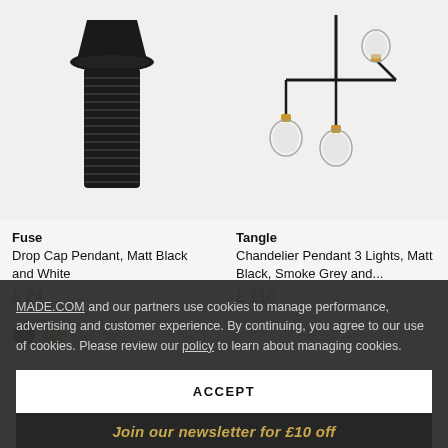[Figure (photo): Product photo of Fuse Drop Cap Pendant lamp socket in Matt Black — cylindrical threaded black metal base with a wide brim top, cropped view]
[Figure (photo): Product photo of Tangle Chandelier Pendant 3 Lights in Matt Black, Smoke Grey and brass — three arm pendant light with globe bulbs on a black rod frame]
Fuse
Drop Cap Pendant, Matt Black and White
£ 24
Tangle
Chandelier Pendant 3 Lights, Matt Black, Smoke Grey and...
£ 110
MADE.COM and our partners use cookies to manage performance, advertising and customer experience. By continuing, you agree to our use of cookies. Please review our policy to learn about managing cookies.
ACCEPT
Join our newsletter for £10 off